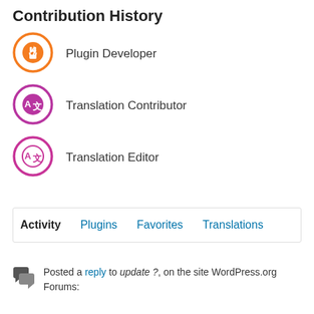Contribution History
Plugin Developer
Translation Contributor
Translation Editor
Activity  Plugins  Favorites  Translations
Posted a reply to update ?, on the site WordPress.org Forums: